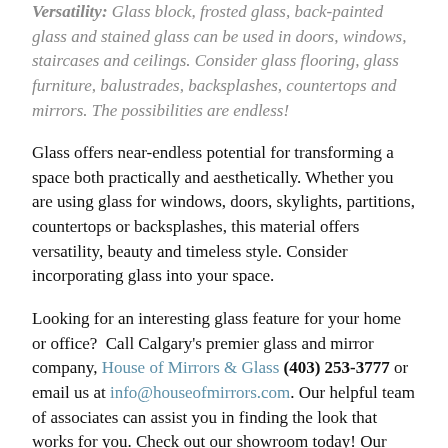Versatility: Glass block, frosted glass, back-painted glass and stained glass can be used in doors, windows, staircases and ceilings. Consider glass flooring, glass furniture, balustrades, backsplashes, countertops and mirrors. The possibilities are endless!
Glass offers near-endless potential for transforming a space both practically and aesthetically. Whether you are using glass for windows, doors, skylights, partitions, countertops or backsplashes, this material offers versatility, beauty and timeless style. Consider incorporating glass into your space.
Looking for an interesting glass feature for your home or office?  Call Calgary's premier glass and mirror company, House of Mirrors & Glass (403) 253-3777 or email us at info@houseofmirrors.com. Our helpful team of associates can assist you in finding the look that works for you. Check out our showroom today! Our knowledgeable and efficient team provides excellent customer service with a focus on custom design.